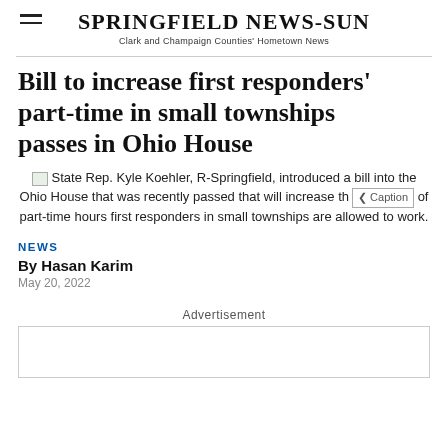Springfield News-Sun — Clark and Champaign Counties' Hometown News
Bill to increase first responders' part-time in small townships passes in Ohio House
State Rep. Kyle Koehler, R-Springfield, introduced a bill into the Ohio House that was recently passed that will increase the part-time hours first responders in small townships are allowed to work.
NEWS
By Hasan Karim
May 20, 2022
Advertisement